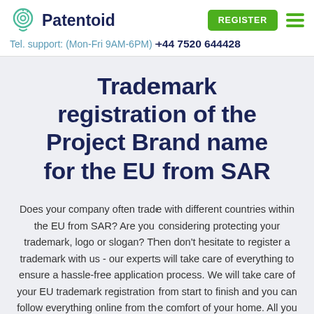Patentoid | Tel. support: (Mon-Fri 9AM-6PM) +44 7520 644428
Trademark registration of the Project Brand name for the EU from SAR
Does your company often trade with different countries within the EU from SAR? Are you considering protecting your trademark, logo or slogan? Then don't hesitate to register a trademark with us - our experts will take care of everything to ensure a hassle-free application process. We will take care of your EU trademark registration from start to finish and you can follow everything online from the comfort of your home. All you